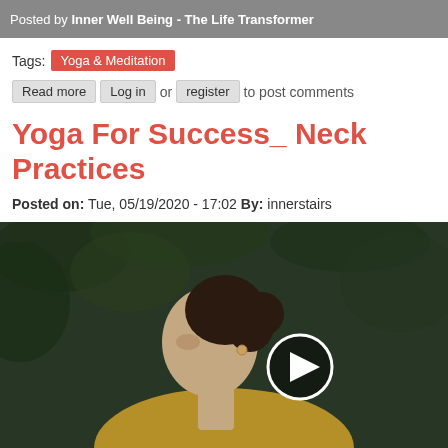Posted by Inner Well Being - The Life Transformer
Tags: Yoga & Meditation
Read more  Log in  or  register  to post comments
Yoga For Success_ Neck Practices
Posted on: Tue, 05/19/2020 - 17:02  By: innerstairs
[Figure (photo): Video thumbnail showing a woman in profile with eyes closed, wearing a yellow top, with a play button overlay. Background is dark green foliage.]